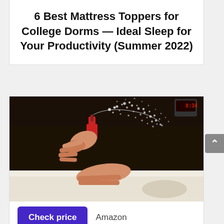6 Best Mattress Toppers for College Dorms — Ideal Sleep for Your Productivity (Summer 2022)
[Figure (photo): Person spraying a white mist/spray onto a dark mattress surface, with a red spray bottle cap visible, white mattress fabric below and a dark topper above]
Check price    Amazon